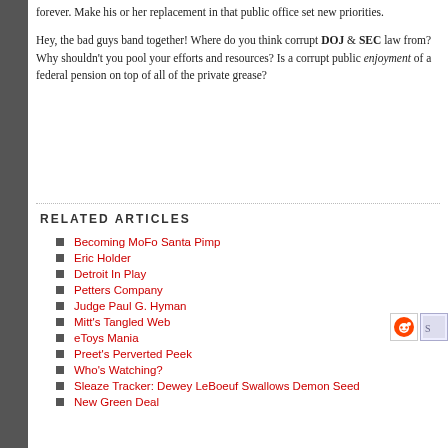forever. Make his or her replacement in that public office set new priorities.
Hey, the bad guys band together! Where do you think corrupt DOJ & SEC law from? Why shouldn't you pool your efforts and resources? Is a corrupt public enjoyment of a federal pension on top of all of the private grease?
RELATED ARTICLES
Becoming MoFo Santa Pimp
Eric Holder
Detroit In Play
Petters Company
Judge Paul G. Hyman
Mitt's Tangled Web
eToys Mania
Preet's Perverted Peek
Who's Watching?
Sleaze Tracker: Dewey LeBoeuf Swallows Demon Seed
New Green Deal